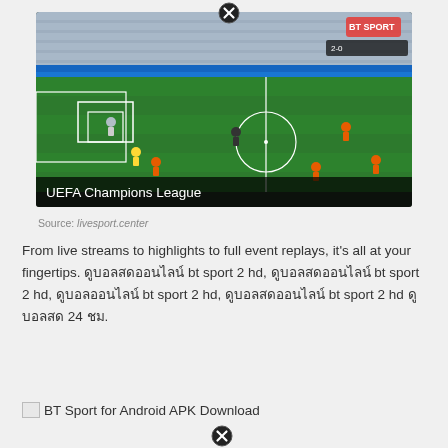[Figure (screenshot): A screenshot of a UEFA Champions League football match broadcast on BT Sport, showing players on a green pitch from an elevated angle, with stadium stands visible. A close/X button appears at the top center of the image overlay.]
Source: livesport.center
From live streams to highlights to full event replays, it's all at your fingertips. ดูบอลสดออนไลน์ bt sport 2 hd, ดูบอลสดออนไลน์ bt sport 2 hd, ดูบอลออนไลน์ bt sport 2 hd, ดูบอลสดออนไลน์ bt sport 2 hd ดูบอลสด 24 ชม.
[Figure (screenshot): Broken image placeholder for BT Sport for Android APK Download, with a close/X button at the bottom center.]